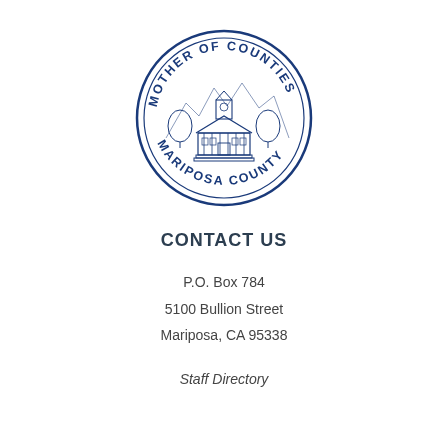[Figure (logo): Circular seal of Mariposa County reading 'MOTHER OF COUNTIES' on top arc and 'MARIPOSA COUNTY' on bottom arc, with a courthouse building illustration in the center, rendered in blue ink on white.]
CONTACT US
P.O. Box 784
5100 Bullion Street
Mariposa, CA 95338
Staff Directory